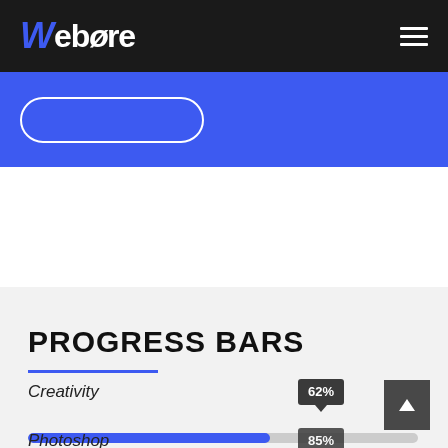Webcore
[Figure (other): Blue banner section with a rounded white outline button]
PROGRESS BARS
[Figure (bar-chart): Progress Bars]